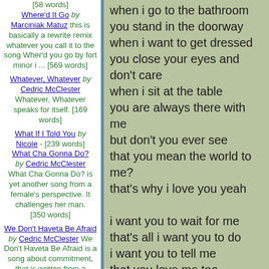[58 words] Where'd It Go by Marciniak Matuz this is basically a rewrite remix whatever you call it to the song Wher'd you go by fort minor i ... [569 words]
Whatever, Whatever by Cedric McClester Whatever, Whatever speaks for itself. [169 words]
What If I Told You by Nicole - [239 words]
What Cha Gonna Do? by Cedric McClester What Cha Gonna Do? is yet another song from a female's perspective. It challenges her man. [350 words]
We Don't Haveta Be Afraid by Cedric McClester We Don't Haveta Be Afraid is a song about commitment, that is written from a female's... [319 words]
We Can Do It by Cedric McClester
when i go to the bathroom
you stand in the doorway
when i want to get dressed
you close your eyes and don't care
when i sit at the table
you are always there with me
but don't you ever see
that you mean the world to me?
that's why i love you yeah

i want you to wait for me
that's all i want you to do
i want you to tell me
that you love me too
of all the things i've done
been impatient to everyone
i want you to wait for me
that's all i want you to do

when i talk to my best friend
you watch over my shoulder
boy i wish i'll be with you
on the day that i get older
there's so much we can do